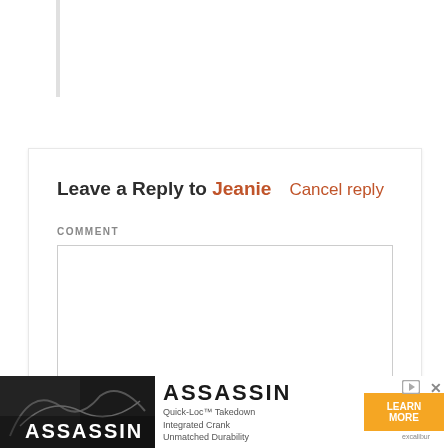Leave a Reply to Jeanie   Cancel reply
COMMENT
[Figure (screenshot): Empty comment textarea input box with resize handle in bottom-right corner]
[Figure (photo): Assassin brand advertisement banner showing bicycle components, Quick-Loc Takedown Integrated Crank, Unmatched Durability, Learn More button, and close/play controls]